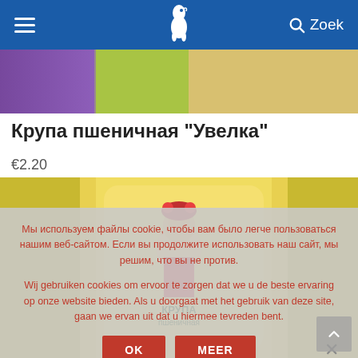≡  [bird logo]  🔍 Zoek
[Figure (photo): Product banner showing colorful food packaging — purple, green, and golden cereal packages]
Крупа пшеничная "Увелка"
€2.20
[Figure (photo): Yellow packaging of wheat groats Uvelka product with a woman illustration]
Мы используем файлы cookie, чтобы вам было легче пользоваться нашим веб-сайтом. Если вы продолжите использовать наш сайт, мы решим, что вы не против.
Wij gebruiken cookies om ervoor te zorgen dat we u de beste ervaring op onze website bieden. Als u doorgaat met het gebruik van deze site, gaan we ervan uit dat u hiermee tevreden bent.
OK    MEER